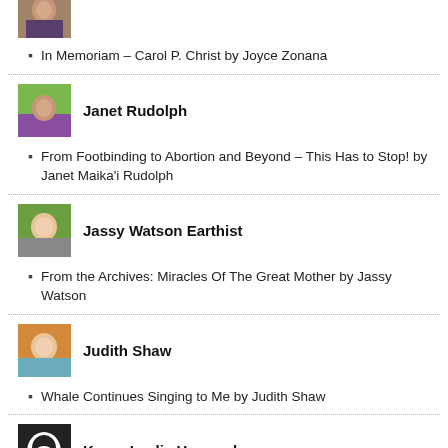[Figure (photo): Portrait photo of an author (cropped at top of page)]
In Memoriam – Carol P. Christ by Joyce Zonana
[Figure (photo): Portrait photo of Janet Rudolph]
Janet Rudolph
From Footbinding to Abortion and Beyond – This Has to Stop! by Janet Maika'i Rudolph
[Figure (photo): Portrait photo of Jassy Watson Earthist]
Jassy Watson Earthist
From the Archives: Miracles Of The Great Mother by Jassy Watson
[Figure (photo): Portrait photo of Judith Shaw]
Judith Shaw
Whale Continues Singing to Me by Judith Shaw
[Figure (photo): Portrait photo of Karen Leslie Hernandez]
Karen Leslie Hernandez
The Utter and Undeniable Need For Walls of